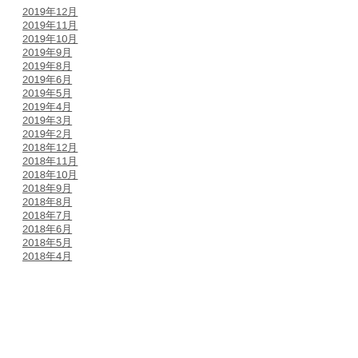2019年12月
2019年11月
2019年10月
2019年9月
2019年8月
2019年6月
2019年5月
2019年4月
2019年3月
2019年2月
2018年12月
2018年11月
2018年10月
2018年9月
2018年8月
2018年7月
2018年6月
2018年5月
2018年4月